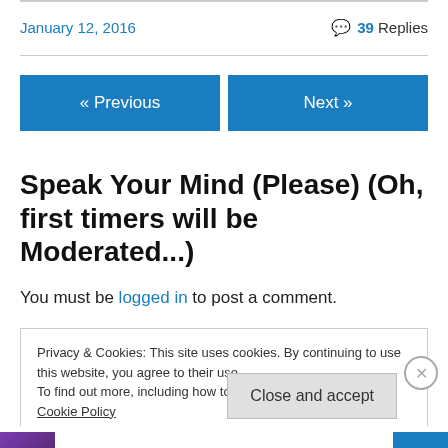January 12, 2016
39 Replies
« Previous
Next »
Speak Your Mind (Please) (Oh, first timers will be Moderated...)
You must be logged in to post a comment.
Privacy & Cookies: This site uses cookies. By continuing to use this website, you agree to their use.
To find out more, including how to control cookies, see here: Cookie Policy